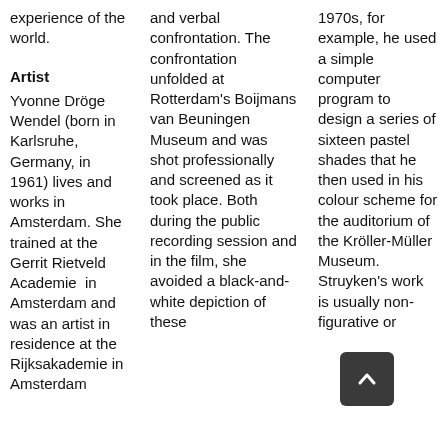experience of the world.
Artist
Yvonne Dröge Wendel (born in Karlsruhe, Germany, in 1961) lives and works in Amsterdam. She trained at the Gerrit Rietveld Academie  in Amsterdam and was an artist in residence at the Rijksakademie in Amsterdam
and verbal confrontation. The confrontation unfolded at Rotterdam's Boijmans van Beuningen Museum and was shot professionally and screened as it took place. Both during the public recording session and in the film, she avoided a black-and-white depiction of these
1970s, for example, he used a simple computer program to design a series of sixteen pastel shades that he then used in his colour scheme for the auditorium of the Kröller-Müller Museum. Struyken's work is usually non-figurative or